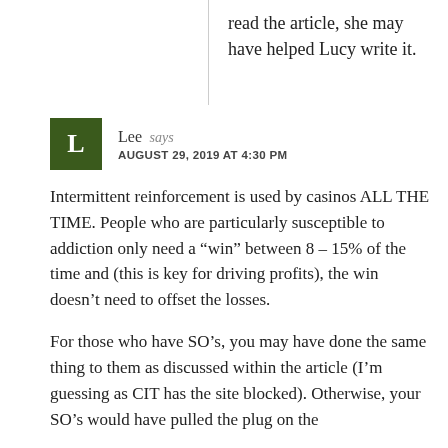read the article, she may have helped Lucy write it.
Lee says
AUGUST 29, 2019 AT 4:30 PM
Intermittent reinforcement is used by casinos ALL THE TIME. People who are particularly susceptible to addiction only need a “win” between 8 – 15% of the time and (this is key for driving profits), the win doesn’t need to offset the losses.
For those who have SO’s, you may have done the same thing to them as discussed within the article (I’m guessing as CIT has the site blocked). Otherwise, your SO’s would have pulled the plug on the